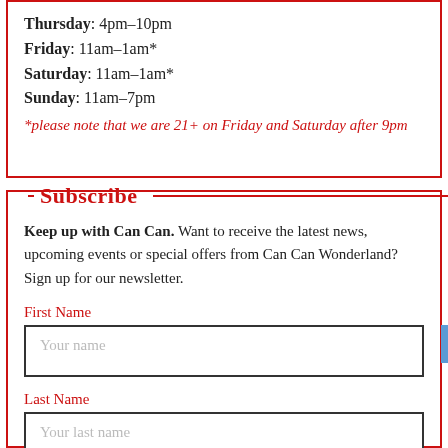Thursday: 4pm-10pm
Friday: 11am-1am*
Saturday: 11am-1am*
Sunday: 11am-7pm
*please note that we are 21+ on Friday and Saturday after 9pm
Subscribe
Keep up with Can Can. Want to receive the latest news, upcoming events or special offers from Can Can Wonderland? Sign up for our newsletter.
First Name
Your name
Last Name
Your last name